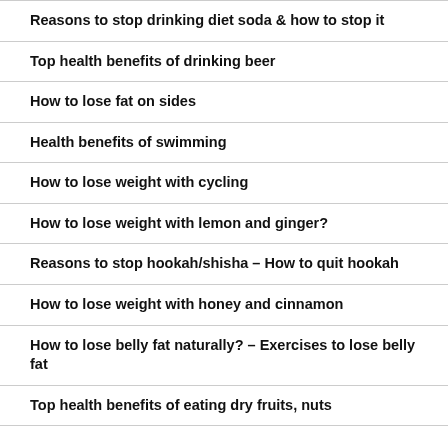Reasons to stop drinking diet soda & how to stop it
Top health benefits of drinking beer
How to lose fat on sides
Health benefits of swimming
How to lose weight with cycling
How to lose weight with lemon and ginger?
Reasons to stop hookah/shisha – How to quit hookah
How to lose weight with honey and cinnamon
How to lose belly fat naturally? – Exercises to lose belly fat
Top health benefits of eating dry fruits, nuts